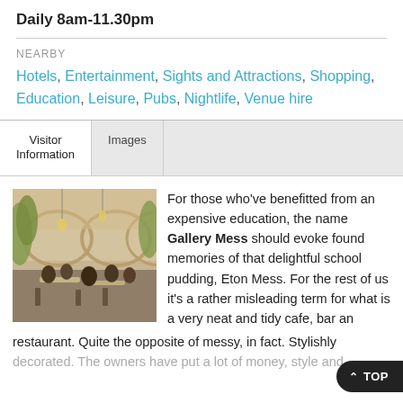Daily 8am-11.30pm
NEARBY
Hotels, Entertainment, Sights and Attractions, Shopping, Education, Leisure, Pubs, Nightlife, Venue hire
Visitor Information
Images
[Figure (photo): Interior of Gallery Mess restaurant/cafe showing arched ceilings, hanging lights, greenery/trees, and people dining at tables]
For those who've benefitted from an expensive education, the name Gallery Mess should evoke found memories of that delightful school pudding, Eton Mess. For the rest of us it's a rather misleading term for what is a very neat and tidy cafe, bar and restaurant. Quite the opposite of messy, in fact. Stylishly decorated. The owners have put a lot of money, style and